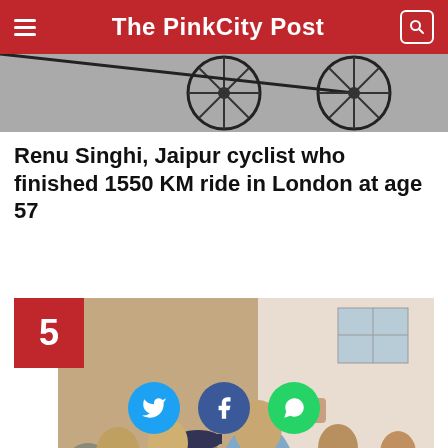The PinkCity Post
[Figure (photo): Partial view of a bicycle wheel from above, dark background]
Renu Singhi, Jaipur cyclist who finished 1550 KM ride in London at age 57
[Figure (photo): A crowd of people, including a police officer in uniform, in what appears to be a confrontation or gathering scene. Number badge '5' overlaid on top-left corner.]
[Figure (infographic): Social sharing icons row: Twitter (blue), Facebook (dark blue), WhatsApp (green)]